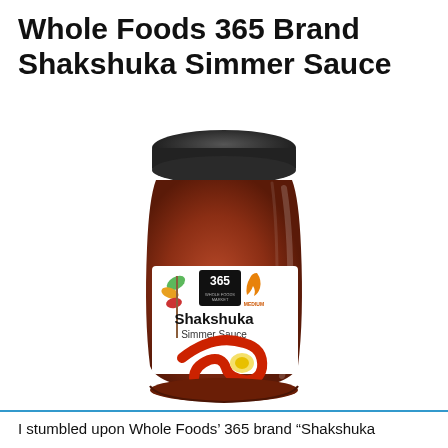Whole Foods 365 Brand Shakshuka Simmer Sauce
[Figure (photo): A glass jar of Whole Foods 365 brand Shakshuka Simmer Sauce with a black lid. The label features the 365 Whole Foods Market logo, a flame icon labeled 'MEDIUM', colorful leaf/plant graphics, and an illustrated egg in red sauce. The jar contains dark red tomato-based sauce.]
I stumbled upon Whole Foods’ 365 brand “Shakshuka